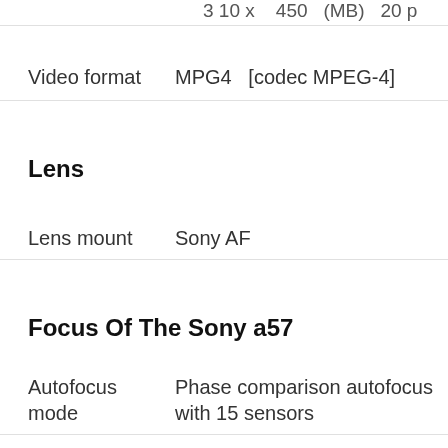Video format    MPG4  [codec MPEG-4]
Lens
Lens mount    Sony AF
Focus Of The Sony a57
Autofocus mode    Phase comparison autofocus with 15 sensors
Autofocus functions    Single AF, Continuous AF, Manual, AF Assist Light